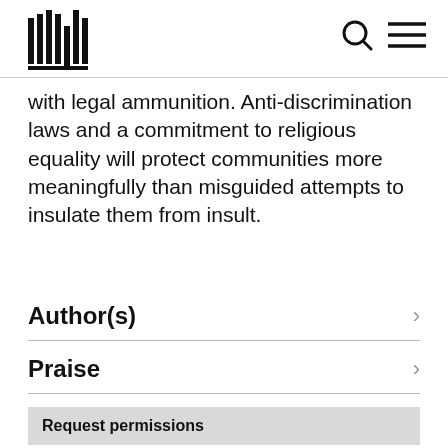with legal ammunition. Anti-discrimination laws and a commitment to religious equality will protect communities more meaningfully than misguided attempts to insulate them from insult.
Author(s)
Praise
Request permissions